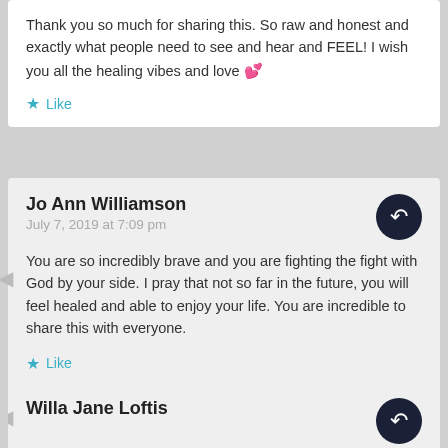Thank you so much for sharing this. So raw and honest and exactly what people need to see and hear and FEEL! I wish you all the healing vibes and love 💕
Like
Jo Ann Williamson
July 7, 2019 at 7:09 pm
You are so incredibly brave and you are fighting the fight with God by your side. I pray that not so far in the future, you will feel healed and able to enjoy your life. You are incredible to share this with everyone.
Like
Willa Jane Loftis